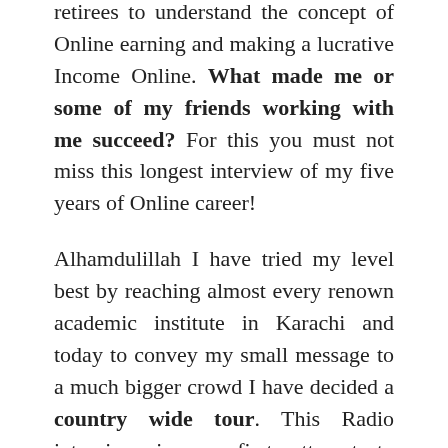retirees to understand the concept of Online earning and making a lucrative Income Online. What made me or some of my friends working with me succeed? For this you must not miss this longest interview of my five years of Online career!
Alhamdulillah I have tried my level best by reaching almost every renown academic institute in Karachi and today to convey my small message to a much bigger crowd I have decided a country wide tour. This Radio interview is my first attempt to encourage every new School boy, jobless or graduate to believe in himself and live a life that is financially independent and a Life that deserves to be respected and honored for decades. I have two events in Karachi and one in Islamabad next month. But this interview is the one where I will speak out